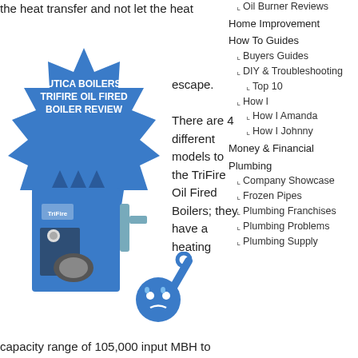the heat transfer and not let the heat
[Figure (illustration): Blue starburst badge with text 'UTICA BOILERS TRIFIRE OIL FIRED BOILER REVIEW' and an image of a blue oil-fired boiler unit, plus a blue emoji-style mascot icon]
escape. There are 4 different models to the TriFire Oil Fired Boilers; they have a heating
capacity range of 105,000 input MBH to
Oil Burner Reviews
Home Improvement
How To Guides
Buyers Guides
DIY & Troubleshooting
Top 10
How I
How I Amanda
How I Johnny
Money & Financial
Plumbing
Company Showcase
Frozen Pipes
Plumbing Franchises
Plumbing Problems
Plumbing Supply